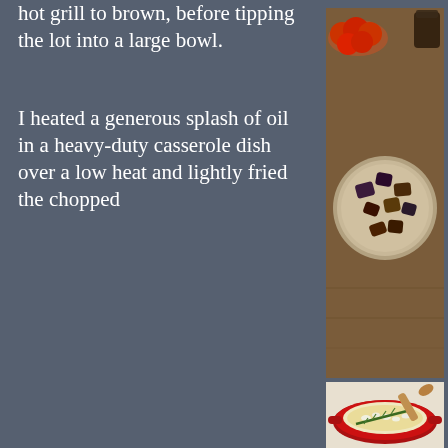hot grill to brown, before tipping the lot into a large bowl.
[Figure (photo): Overhead view of a metal bowl containing cooked, browned aubergine/eggplant chunks on a wooden surface, with a bowl of tomatoes and a dark jar in the background.]
I heated a generous splash of oil in a heavy-duty casserole dish over a low heat and lightly fried the chopped
[Figure (photo): A red cast iron casserole dish on a gas hob with garlic and a sprig of rosemary cooking in olive oil, with a wooden spoon resting on top.]